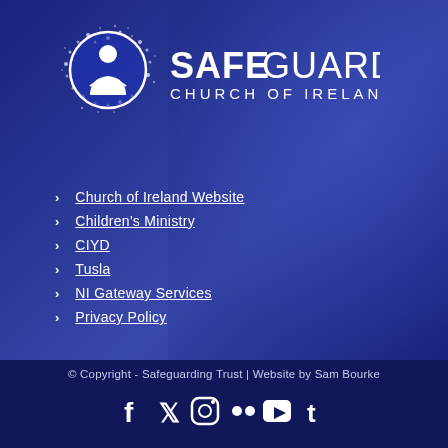[Figure (logo): Safeguarding Church of Ireland logo with circular icon showing a person figure surrounded by dots/sparkles, and the text SAFEGUARDING CHURCH OF IRELAND]
Church of Ireland Website
Children's Ministry
CIYD
Tusla
NI Gateway Services
Privacy Policy
© Copyright - Safeguarding Trust | Website by Sam Bourke
[Figure (infographic): Social media icons row: Facebook, Twitter, Instagram, Flickr (two dots), YouTube, Tumblr]